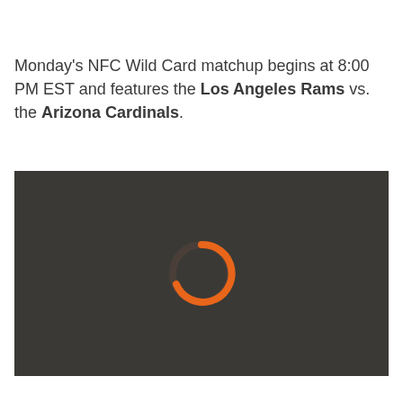Monday's NFC Wild Card matchup begins at 8:00 PM EST and features the Los Angeles Rams vs. the Arizona Cardinals.
[Figure (screenshot): Dark gray video player with a loading spinner (orange partial circle arc) centered on the screen.]